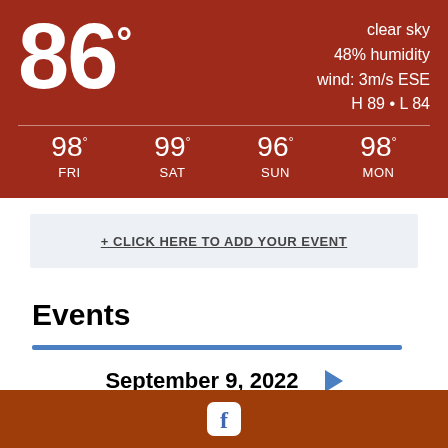86° clear sky 48% humidity wind: 3m/s ESE H 89 • L 84
98° FRI  99° SAT  96° SUN  98° MON
+ CLICK HERE TO ADD YOUR EVENT
Events
September 9, 2022
7:00 PM Donor Appreciation and